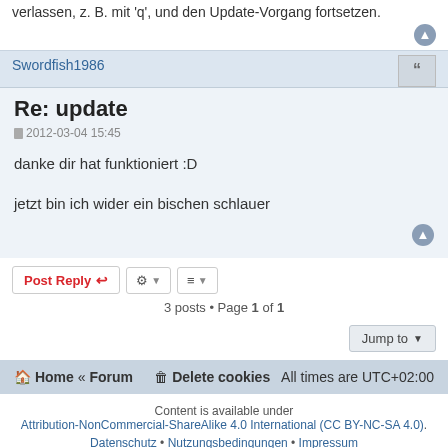verlassen, z. B. mit 'q', und den Update-Vorgang fortsetzen.
Swordfish1986
Re: update
2012-03-04 15:45
danke dir hat funktioniert :D

jetzt bin ich wider ein bischen schlauer
3 posts • Page 1 of 1
Home « Forum   Delete cookies   All times are UTC+02:00
Content is available under
Attribution-NonCommercial-ShareAlike 4.0 International (CC BY-NC-SA 4.0).
Datenschutz • Nutzungsbedingungen • Impressum